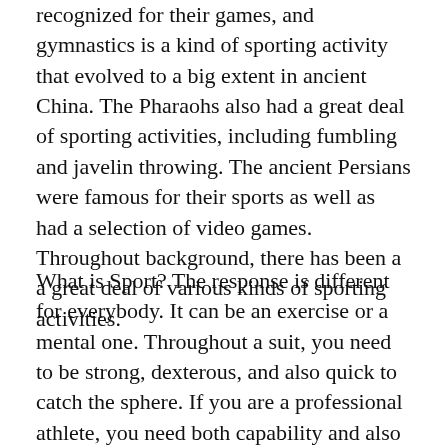recognized for their games, and gymnastics is a kind of sporting activity that evolved to a big extent in ancient China. The Pharaohs also had a great deal of sporting activities, including fumbling and javelin throwing. The ancient Persians were famous for their sports as well as had a selection of video games. Throughout background, there has been a a great deal of various kinds of sporting activities.
What is Sport? The response is different for everybody. It can be an exercise or a mental one. Throughout a suit, you need to be strong, dexterous, and also quick to catch the sphere. If you are a professional athlete, you need both capability and also skill to hit the ball. You likewise require some mental toughness. Lots of kinds of sport entail mental abilities in addition to physical